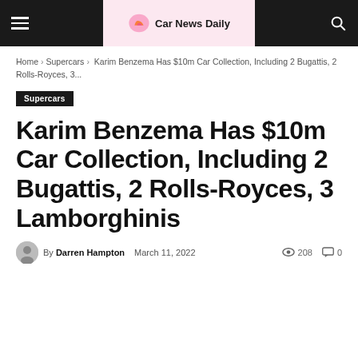Car News Daily
Home › Supercars › Karim Benzema Has $10m Car Collection, Including 2 Bugattis, 2 Rolls-Royces, 3...
Supercars
Karim Benzema Has $10m Car Collection, Including 2 Bugattis, 2 Rolls-Royces, 3 Lamborghinis
By Darren Hampton   March 11, 2022   208   0